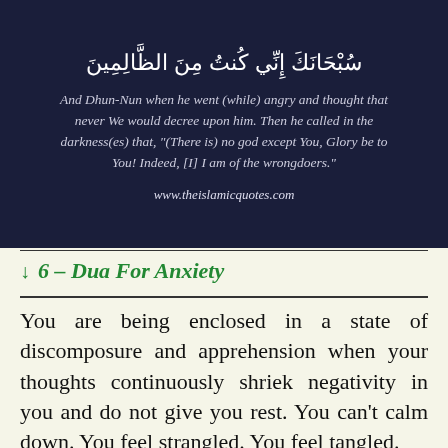[Figure (illustration): Dark blue/navy night sky background with Arabic Quranic text at top and English translation below, with website URL at bottom]
↓ 6 – Dua For Anxiety
You are being enclosed in a state of discomposure and apprehension when your thoughts continuously shriek negativity in you and do not give you rest. You can't calm down. You feel strangled. You feel tangled.